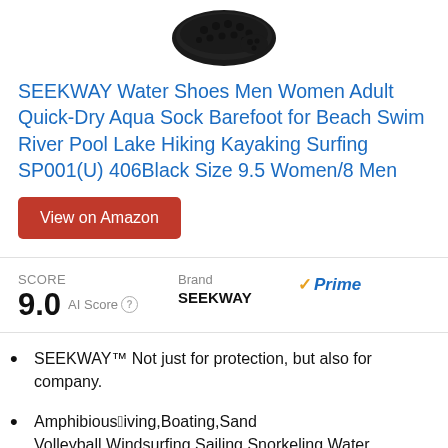[Figure (photo): Partial view of a black water shoe/aqua sock from above on white background]
SEEKWAY Water Shoes Men Women Adult Quick-Dry Aqua Sock Barefoot for Beach Swim River Pool Lake Hiking Kayaking Surfing SP001(U) 406Black Size 9.5 Women/8 Men
View on Amazon
SCORE 9.0 AI Score | Brand SEEKWAY | Prime
SEEKWAY™ Not just for protection, but also for company.
Amphibious：Diving,Boating,Sand Volleyball,Windsurfing,Sailing,Snorkeling,Water aerobics,Waterfall hikes,Water...